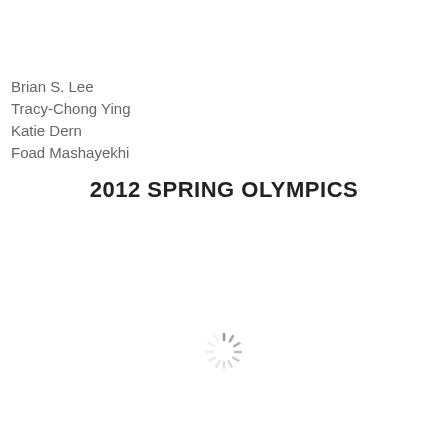Brian S. Lee
Tracy-Chong Ying
Katie Dern
Foad Mashayekhi
2012 SPRING OLYMPICS
[Figure (other): Loading spinner / activity indicator icon]